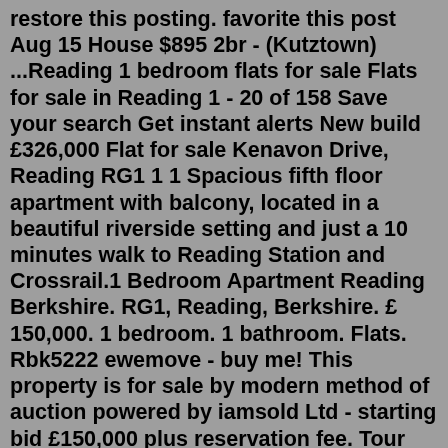restore this posting. favorite this post Aug 15 House $895 2br - (Kutztown) ...Reading 1 bedroom flats for sale Flats for sale in Reading 1 - 20 of 158 Save your search Get instant alerts New build £326,000 Flat for sale Kenavon Drive, Reading RG1 1 1 Spacious fifth floor apartment with balcony, located in a beautiful riverside setting and just a 10 minutes walk to Reading Station and Crossrail.1 Bedroom Apartment Reading Berkshire. RG1, Reading, Berkshire. £ 150,000. 1 bedroom. 1 bathroom. Flats. Rbk5222 ewemove - buy me! This property is for sale by modern method of auction powered by iamsold Ltd - starting bid £150,000 plus reservation fee. Tour potential one bedroom apartment rentals with a critical eye. Pay attention to all the details that come with a place; scan the condition of everything including the appliances, carpets and walls. Also take a stroll through the apartment complex or building to gauge a sense of the community. Talk to your potential neighbors to see how they ...This apartment comprises an entrance hall, a bathroom, a en suite